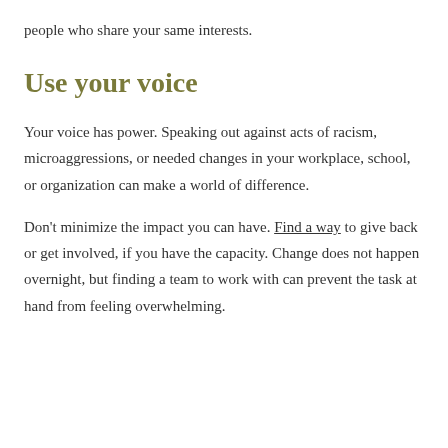people who share your same interests.
Use your voice
Your voice has power. Speaking out against acts of racism, microaggressions, or needed changes in your workplace, school, or organization can make a world of difference.
Don't minimize the impact you can have. Find a way to give back or get involved, if you have the capacity. Change does not happen overnight, but finding a team to work with can prevent the task at hand from feeling overwhelming.